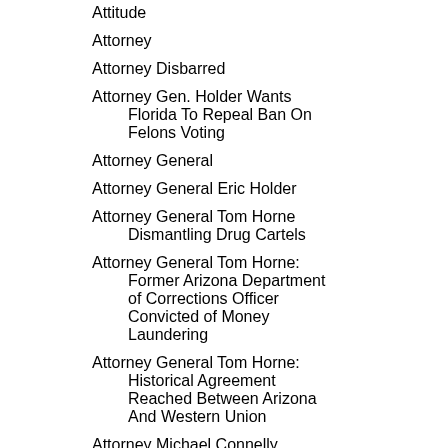Attitude
Attorney
Attorney Disbarred
Attorney Gen. Holder Wants Florida To Repeal Ban On Felons Voting
Attorney General
Attorney General Eric Holder
Attorney General Tom Horne Dismantling Drug Cartels
Attorney General Tom Horne: Former Arizona Department of Corrections Officer Convicted of Money Laundering
Attorney General Tom Horne: Historical Agreement Reached Between Arizona And Western Union
Attorney Michael Connelly
Attorneys